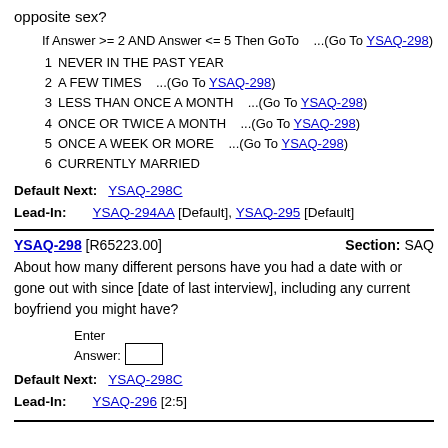opposite sex?
If Answer >= 2 AND Answer <= 5 Then GoTo    ...(Go To YSAQ-298)
1  NEVER IN THE PAST YEAR
2  A FEW TIMES    ...(Go To YSAQ-298)
3  LESS THAN ONCE A MONTH    ...(Go To YSAQ-298)
4  ONCE OR TWICE A MONTH    ...(Go To YSAQ-298)
5  ONCE A WEEK OR MORE    ...(Go To YSAQ-298)
6  CURRENTLY MARRIED
Default Next: YSAQ-298C
Lead-In: YSAQ-294AA [Default], YSAQ-295 [Default]
YSAQ-298 [R65223.00]   Section: SAQ
About how many different persons have you had a date with or gone out with since [date of last interview], including any current boyfriend you might have?
Enter Answer: [box]
Default Next: YSAQ-298C
Lead-In: YSAQ-296 [2:5]